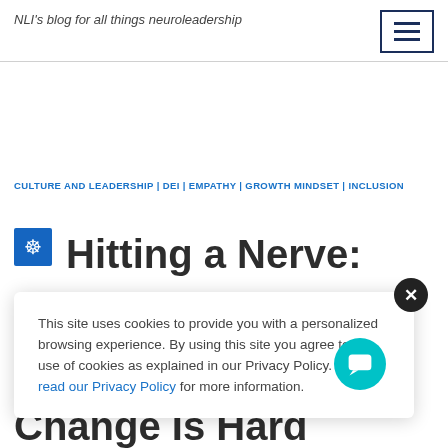NLI's blog for all things neuroleadership
CULTURE AND LEADERSHIP | DEI | EMPATHY | GROWTH MINDSET | INCLUSION
Hitting a Nerve:
This site uses cookies to provide you with a personalized browsing experience. By using this site you agree to our use of cookies as explained in our Privacy Policy. Please read our Privacy Policy for more information.
Change Is Hard